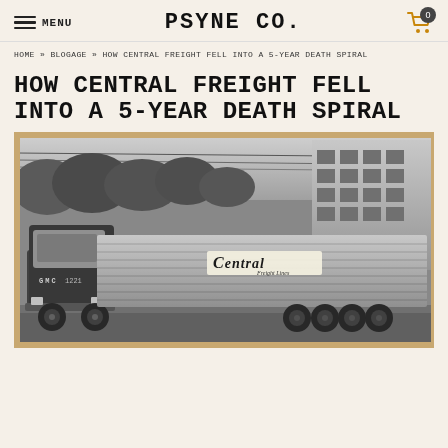MENU | PSYNE CO. | 0
HOME » BLOGAGE » HOW CENTRAL FREIGHT FELL INTO A 5-YEAR DEATH SPIRAL
HOW CENTRAL FREIGHT FELL INTO A 5-YEAR DEATH SPIRAL
[Figure (photo): Black and white vintage photograph of a Central Freight Lines GMC truck and trailer parked near an industrial building with trees in the background. The trailer prominently displays the 'Central' logo. The cab shows number 1221.]